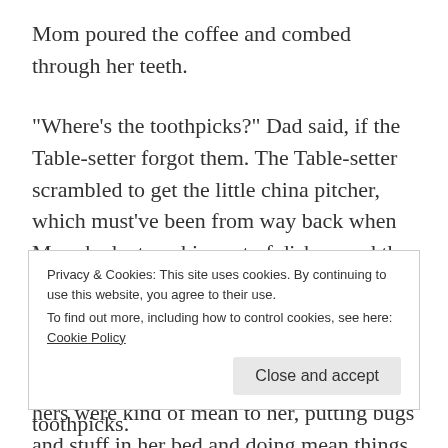Mom poured the coffee and combed through her teeth.
“Where’s the toothpicks?” Dad said, if the Table-setter forgot them. The Table-setter scrambled to get the little china pitcher, which must’ve been from way back when Mom had a toy china set of dishes, and the only thing that was left was that tiny pitcher, which was now precious, ‘cause Mom’s brothers, my uncles broke all her other dishes. Brothers can be a bother, and hers were kind of mean to her, putting bugs and stuff in her bed and doing mean things to her dolls, and bringing friends over that made fun of how skinny she was, and teasing
Privacy & Cookies: This site uses cookies. By continuing to use this website, you agree to their use.
To find out more, including how to control cookies, see here: Cookie Policy
toothpicks.